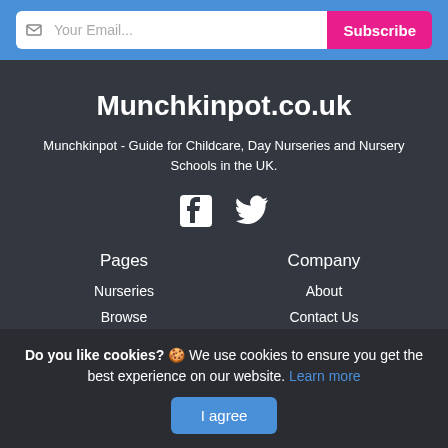Your Email... Subscribe
Munchkinpot.co.uk
Munchkinpot - Guide for Childcare, Day Nurseries and Nursery Schools in the UK.
[Figure (other): Facebook and Twitter social media icons]
Pages
Nurseries
Browse
Blog
Company
About
Contact Us
Terms and Conditions
Do you like cookies? 🍪 We use cookies to ensure you get the best experience on our website. Learn more
I agree